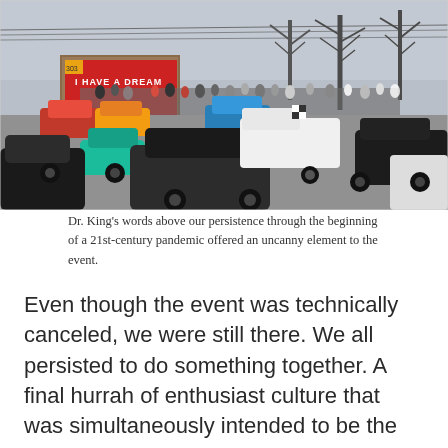[Figure (photo): Overhead view of a crowded car meet or car show on a street, with many colorful cars lined up bumper to bumper. A mural on a building in the background reads 'I HAVE A DREAM'. Bare winter trees are visible. Large crowd of people walking among the cars.]
Dr. King’s words above our persistence through the beginning of a 21st-century pandemic offered an uncanny element to the event.
Even though the event was technically canceled, we were still there. We all persisted to do something together. A final hurrah of enthusiast culture that was simultaneously intended to be the signal that our season has begun. Now, we may not have a season, at least not a full one.